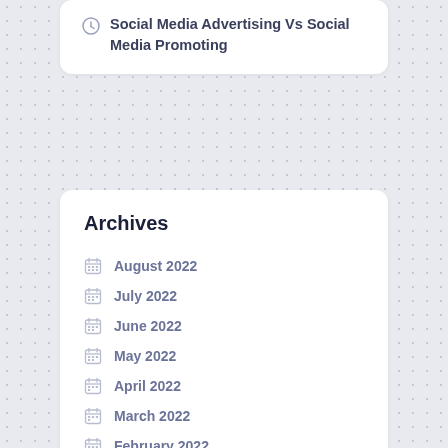Social Media Advertising Vs Social Media Promoting
Archives
August 2022
July 2022
June 2022
May 2022
April 2022
March 2022
February 2022
January 2022